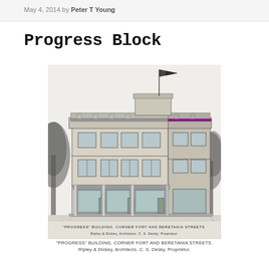May 4, 2014 by Peter T Young
Progress Block
[Figure (illustration): Architectural sketch/illustration of the 'Progress' Building at the corner of Fort and Beretania Streets, a three-story commercial building with ornate detailing, storefronts on ground level, and a flag flying from the rooftop. Trees visible on both sides.]
"PROGRESS" BUILDING, CORNER FORT AND BERETANIA STREETS.
Ripley & Dickey, Architects. C. S. Desky, Proprietor.